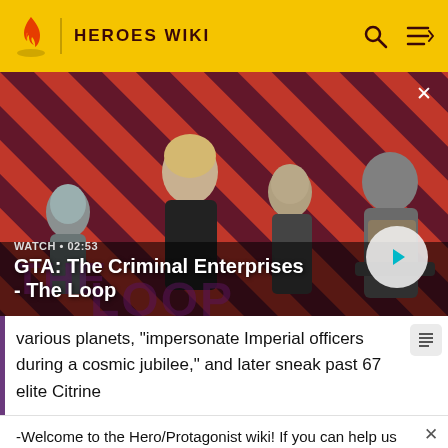HEROES WIKI
[Figure (screenshot): Video thumbnail for GTA: The Criminal Enterprises - The Loop. Shows four characters on a red diagonal striped background. Duration shown as 02:53 with WATCH label. A circular play button is on the right side. An X close button is at top right.]
WATCH • 02:53
GTA: The Criminal Enterprises - The Loop
various planets, "impersonate Imperial officers during a cosmic jubilee," and later sneak past 67 elite Citrine
-Welcome to the Hero/Protagonist wiki! If you can help us with this wiki please sign up and help us! Thanks! -M-NUva